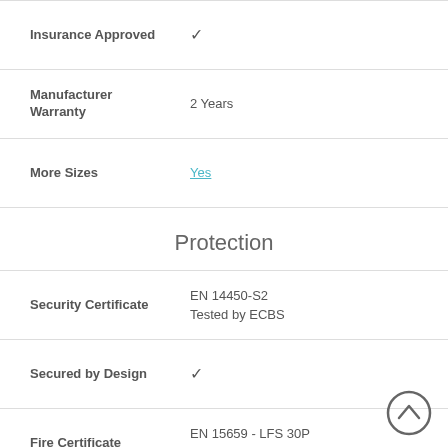| Field | Value |
| --- | --- |
| Insurance Approved | ✔ |
| Manufacturer Warranty | 2 Years |
| More Sizes | Yes |
Protection
| Field | Value |
| --- | --- |
| Security Certificate | EN 14450-S2
Tested by ECBS |
| Secured by Design | ✔ |
| Fire Certificate | EN 15659 - LFS 30P
Tested by ECBS |
| Protection from Fire | Paper |